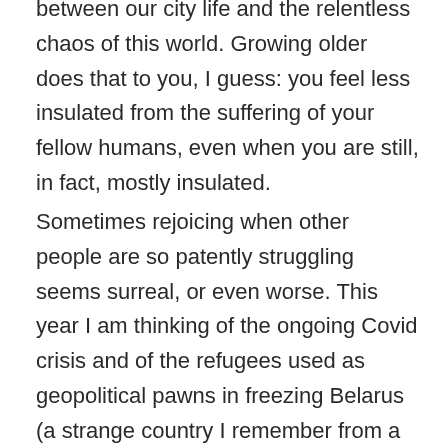between our city life and the relentless chaos of this world. Growing older does that to you, I guess: you feel less insulated from the suffering of your fellow humans, even when you are still, in fact, mostly insulated.
Sometimes rejoicing when other people are so patently struggling seems surreal, or even worse. This year I am thinking of the ongoing Covid crisis and of the refugees used as geopolitical pawns in freezing Belarus (a strange country I remember from a few trips long ago). Life goes on, of course, and celebrating with our family and friends is a meaningful part of it, but the balance between joy and awareness is elusive at times...